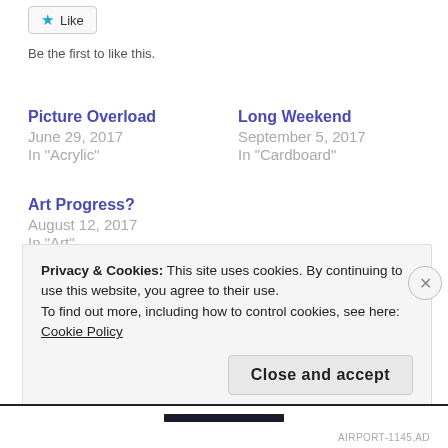Like
Be the first to like this.
Picture Overload
June 29, 2017
In "Acrylic"
Long Weekend
September 5, 2017
In "Cardboard"
Art Progress?
August 12, 2017
In "Art"
Privacy & Cookies: This site uses cookies. By continuing to use this website, you agree to their use.
To find out more, including how to control cookies, see here: Cookie Policy
Close and accept